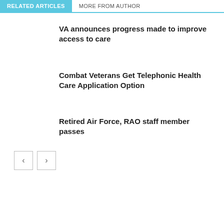RELATED ARTICLES | MORE FROM AUTHOR
VA announces progress made to improve access to care
Combat Veterans Get Telephonic Health Care Application Option
Retired Air Force, RAO staff member passes